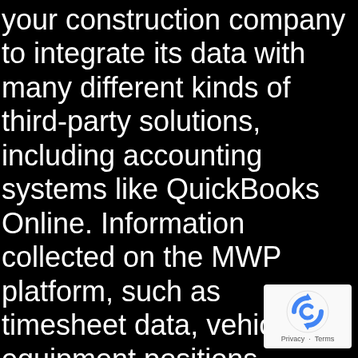your construction company to integrate its data with many different kinds of third-party solutions, including accounting systems like QuickBooks Online. Information collected on the MWP platform, such as timesheet data, vehicle and equipment positions, diagnostics and maintenance checklist data, and customer lists can be synced with the other applications you regularly use.
[Figure (logo): reCAPTCHA badge with a circular arrow logo and 'Privacy - Terms' text below]